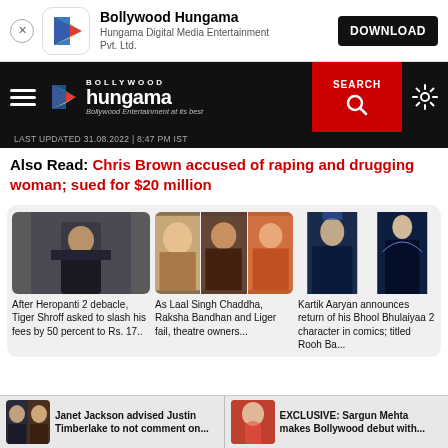Bollywood Hungama — Hungama Digital Media Entertainment Pvt. Ltd. — DOWNLOAD
[Figure (screenshot): Bollywood Hungama app navigation bar with logo, hamburger menu, search and settings icons. Last updated 31.08.2022 | 8:47 PM IST]
Also Read: Chris Brown accused of raping and drugging woman; sued for $20 million
[Figure (photo): Three Bollywood news card thumbnails: Tiger Shroff, Laal Singh Chaddha/Raksha Bandhan/Liger group, Bhool Bhulaiyaa 2 poster]
After Heropanti 2 debacle, Tiger Shroff asked to slash his fees by 50 percent to Rs. 17...
As Laal Singh Chaddha, Raksha Bandhan and Liger fail, theatre owners...
Kartik Aaryan announces return of his Bhool Bhulaiyaa 2 character in comics; titled Rooh Ba...
Janet Jackson advised Justin Timberlake to not comment on...
EXCLUSIVE: Sargun Mehta makes Bollywood debut with...